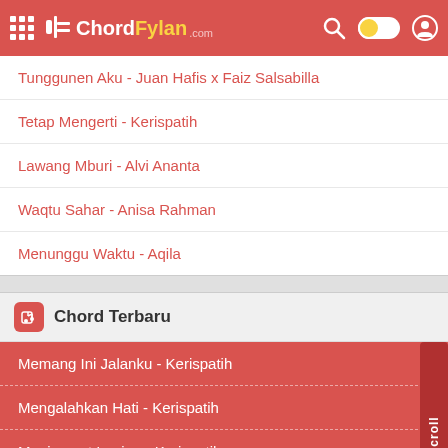ChordFylan.com - navigation bar
Tunggunen Aku - Juan Hafis x Faiz Salsabilla
Tetap Mengerti - Kerispatih
Lawang Mburi - Alvi Ananta
Waqtu Sahar - Anisa Rahman
Menunggu Waktu - Aqila
Chord Terbaru
Memang Ini Jalanku - Kerispatih
Mengalahkan Hati - Kerispatih
Menjemput Impian - Kerispatih
Semua Tentang Cinta - Kerispatih
Terindah Saat Aku Mencintaimu - Kerispatih